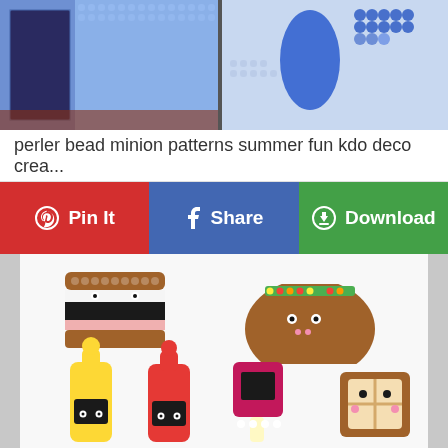[Figure (photo): Perler bead minion pattern artwork showing pixel-art style bead designs in blue and colorful patterns]
perler bead minion patterns summer fun kdo deco crea...
Pin It | Share | Download
[Figure (photo): Perler bead food character designs: a hamburger/sandwich, taco, mustard bottle, ketchup bottle, ice cream and toast characters made from fused beads on white background]